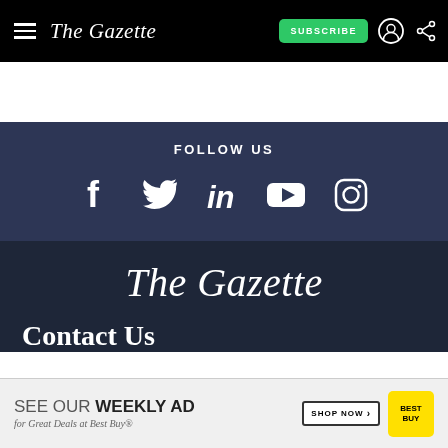The Gazette — navigation bar with hamburger menu, logo, SUBSCRIBE button, user icon, share icon
FOLLOW US
[Figure (infographic): Social media icons: Facebook, Twitter, LinkedIn, YouTube, Instagram on dark navy background]
[Figure (logo): The Gazette masthead logo in white serif italic font on dark background]
Contact Us
[Figure (infographic): Best Buy advertisement bar: SEE OUR WEEKLY AD for Great Deals at Best Buy® with SHOP NOW button and Best Buy logo]